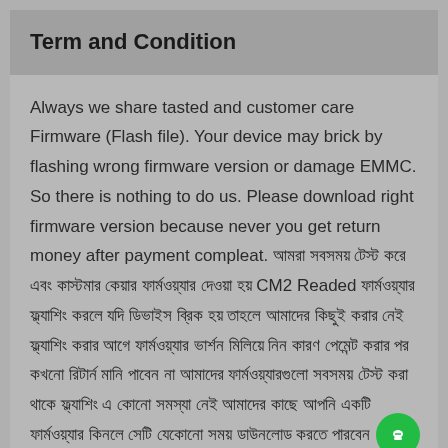Term and Condition
Always we share tasted and customer care Firmware (Flash file). Your device may brick by flashing wrong firmware version or damage EMMC. So there is nothing to do us. Please download right firmware version because never you get return money after payment compleat. আমরা সবসময় টেস্ট করে এবং কাস্টমার কেয়ার ফার্মওয়্যার দেওয়া হয় CM2 Readed ফার্মওয়্যার ফ্ল্যাশিং করলে যদি ডিভাইস ব্রিক হয় তাহলে আমাদের কিছুই করার নেই ফ্ল্যাশিং করার আগে ফার্মওয়্যার ভার্শন মিলিয়ে নিন কারণ পেমেন্ট করার পর কখনো রিটার্ন মানি পাবেন না আমাদের ফার্মওয়্যারগুলো সবসময় টেস্ট করা থাকে ফ্ল্যাশিং এ কোনো সমস্যা নেই আমাদের কাছে আপনি একটি ফার্মওয়্যার কিনলে সেটি যেকোনো সময় ডাউনলোড করতে পারবেন আমাদের ফার্মওয়্যার